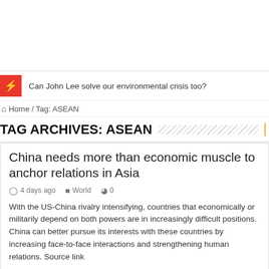Can John Lee solve our environmental crisis too?
Home / Tag: ASEAN
TAG ARCHIVES: ASEAN
China needs more than economic muscle to anchor relations in Asia
4 days ago   World   0
With the US-China rivalry intensifying, countries that economically or militarily depend on both powers are in increasingly difficult positions. China can better pursue its interests with these countries by increasing face-to-face interactions and strengthening human relations. Source link